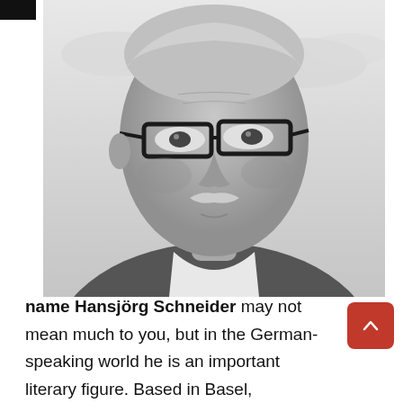[Figure (photo): Black and white portrait photo of an elderly man with short grey hair, thick dark-framed glasses, a white moustache, wearing a blazer and open-collar shirt, photographed against a cloudy sky background.]
name Hansjörg Schneider may not mean much to you, but in the German-speaking world he is an important literary figure. Based in Basel,